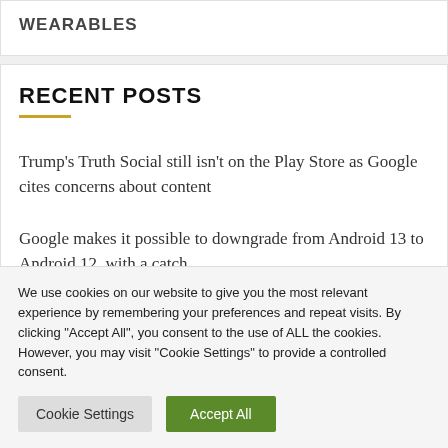WEARABLES
RECENT POSTS
Trump's Truth Social still isn't on the Play Store as Google cites concerns about content
Google makes it possible to downgrade from Android 13 to Android 12, with a catch
We use cookies on our website to give you the most relevant experience by remembering your preferences and repeat visits. By clicking "Accept All", you consent to the use of ALL the cookies. However, you may visit "Cookie Settings" to provide a controlled consent.